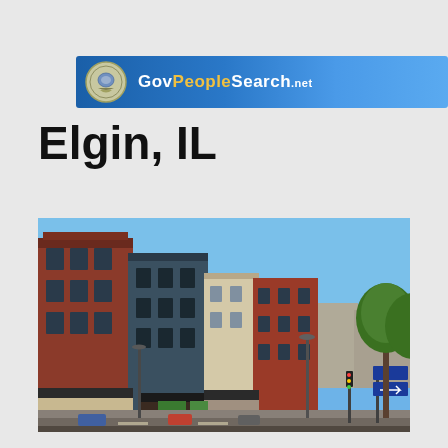GovPeopleSearch.net
Elgin, IL
[Figure (photo): Street view photograph of downtown Elgin, IL showing historic red brick multi-story commercial buildings along a main street, with trees on the right side and a clear blue sky.]